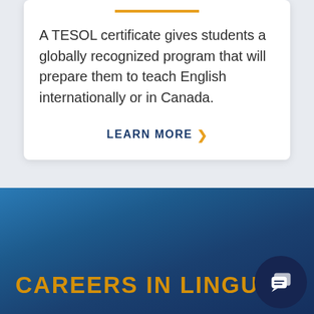A TESOL certificate gives students a globally recognized program that will prepare them to teach English internationally or in Canada.
LEARN MORE ›
CAREERS IN LINGUISTICS